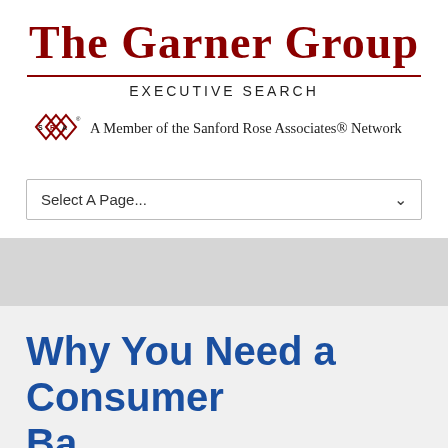[Figure (logo): The Garner Group logo with dark red serif text, horizontal rule, 'EXECUTIVE SEARCH' subtitle, and Sanford Rose Associates diamond logo with member network text]
[Figure (screenshot): Dropdown UI element with label 'Select A Page...' and chevron arrow]
Why You Need a Consumer Ba...